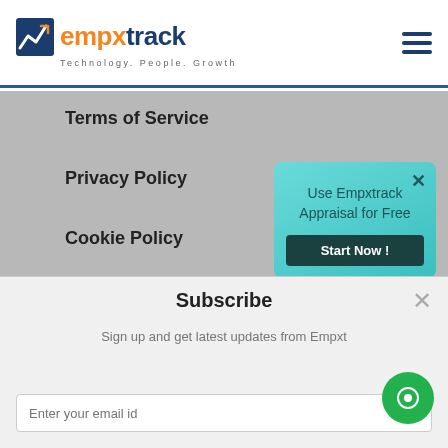empxtrack - Technology. People. Growth
Terms of Service
Privacy Policy
Cookie Policy
Site Map
Partners
FAQs
Use Empxtrack Appraisal for Free
Start Now !
Subscribe
Sign up and get latest updates from Empxtrack
Enter your email id